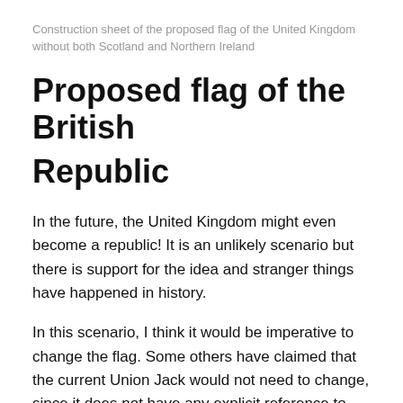Construction sheet of the proposed flag of the United Kingdom without both Scotland and Northern Ireland
Proposed flag of the British Republic
In the future, the United Kingdom might even become a republic! It is an unlikely scenario but there is support for the idea and stranger things have happened in history.
In this scenario, I think it would be imperative to change the flag. Some others have claimed that the current Union Jack would not need to change, since it does not have any explicit reference to the monarchy. However, I argue that